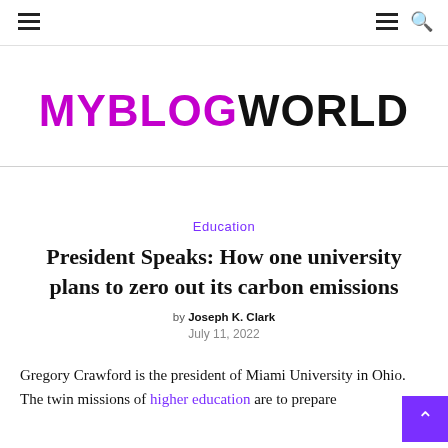MYBLOGWORLD — navigation header with hamburger menus and search icon
MYBLOGWORLD
Education
President Speaks: How one university plans to zero out its carbon emissions
by Joseph K. Clark
July 11, 2022
Gregory Crawford is the president of Miami University in Ohio. The twin missions of higher education are to prepare